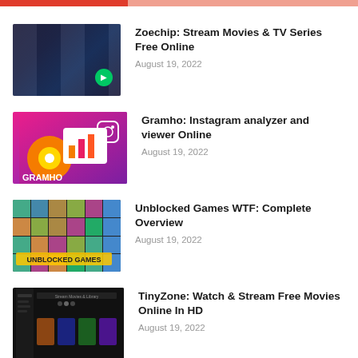Zoechip: Stream Movies & TV Series Free Online — August 19, 2022
Gramho: Instagram analyzer and viewer Online — August 19, 2022
Unblocked Games WTF: Complete Overview — August 19, 2022
TinyZone: Watch & Stream Free Movies Online In HD — August 19, 2022